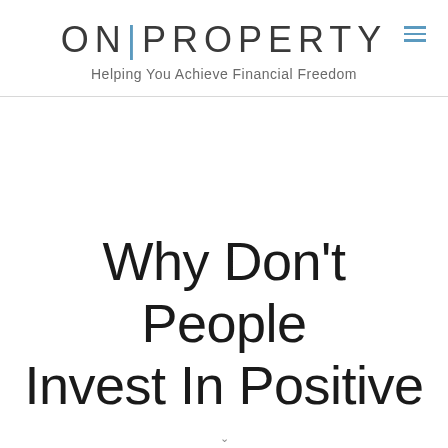ON|PROPERTY — Helping You Achieve Financial Freedom
Why Don't People Invest In Positive